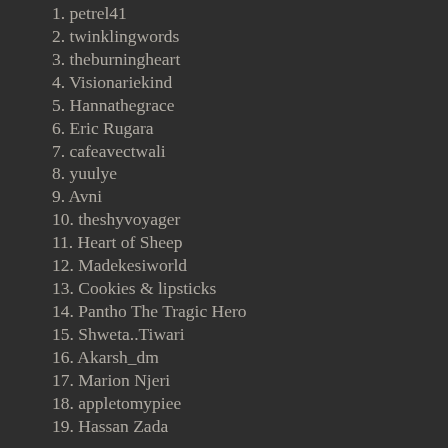1. petrel41
2. twinklingwords
3. theburningheart
4. Visionariekind
5. Hannathegrace
6. Eric Rugara
7. cafeavectwali
8. yuulye
9. Avni
10. theshyvoyager
11. Heart of Sheep
12. Madekesiworld
13. Cookies & lipsticks
14. Pantho The Tragic Hero
15. Shweta..Tiwari
16. Akarsh_dm
17. Marion Njeri
18. appletomypiee
19. Hassan Zada